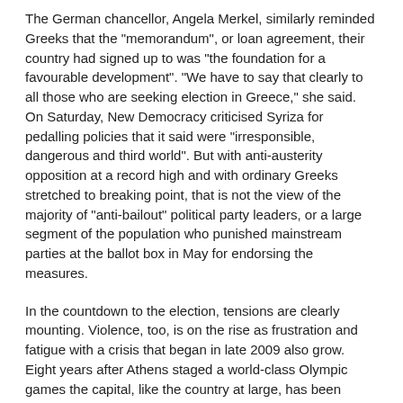The German chancellor, Angela Merkel, similarly reminded Greeks that the "memorandum", or loan agreement, their country had signed up to was "the foundation for a favourable development". "We have to say that clearly to all those who are seeking election in Greece," she said. On Saturday, New Democracy criticised Syriza for pedalling policies that it said were "irresponsible, dangerous and third world". But with anti-austerity opposition at a record high and with ordinary Greeks stretched to breaking point, that is not the view of the majority of "anti-bailout" political party leaders, or a large segment of the population who punished mainstream parties at the ballot box in May for endorsing the measures.
In the countdown to the election, tensions are clearly mounting. Violence, too, is on the rise as frustration and fatigue with a crisis that began in late 2009 also grow. Eight years after Athens staged a world-class Olympic games the capital, like the country at large, has been overtaken by a sense of desperation and despair; its people beaten down by five grinding years of recession and plunged into seeming ungovernability by the political instability spawned by last month's inconclusive poll. Paralysis has brought dysfunction and with it a deepening sense of social breakdown.
The vast majority are in favour of the euro, viewing Greece's European